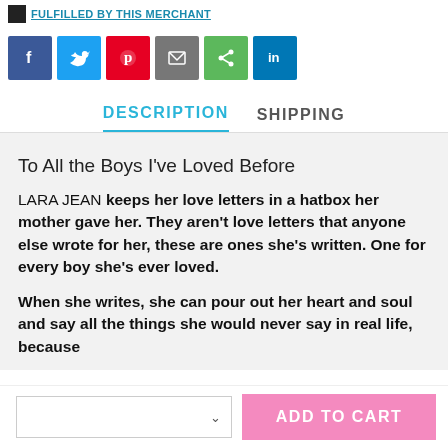[Figure (screenshot): Social share buttons: Facebook (blue), Twitter (light blue), Pinterest (red), Email (gray), Share (green), LinkedIn (blue)]
DESCRIPTION    SHIPPING
To All the Boys I've Loved Before
LARA JEAN keeps her love letters in a hatbox her mother gave her. They aren't love letters that anyone else wrote for her, these are ones she's written. One for every boy she's ever loved.
When she writes, she can pour out her heart and soul and say all the things she would never say in real life, because
[Figure (screenshot): ADD TO CART button in pink and a quantity dropdown selector]